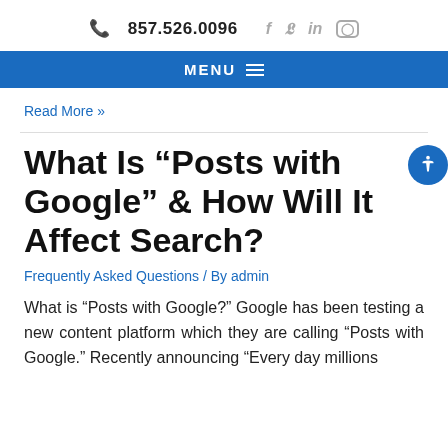857.526.0096
MENU
Read More »
What Is “Posts with Google” & How Will It Affect Search?
Frequently Asked Questions / By admin
What is “Posts with Google?” Google has been testing a new content platform which they are calling “Posts with Google.” Recently announcing “Every day millions